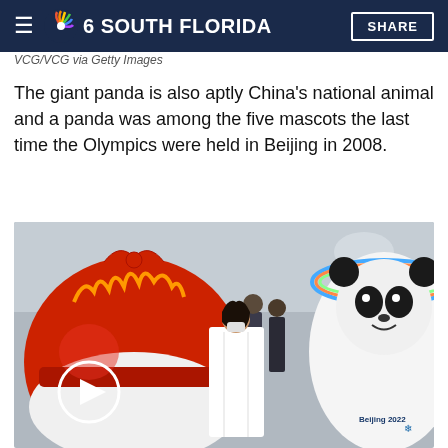NBC 6 SOUTH FLORIDA | SHARE
VCG/VCG via Getty Images
The giant panda is also aptly China's national animal and a panda was among the five mascots the last time the Olympics were held in Beijing in 2008.
[Figure (photo): Two Beijing 2022 Winter Olympics mascot costumes (a red lantern-style figure and a white panda figure with colorful rings) in an indoor venue, with people in the background. A woman in a white jacket and face mask stands near the mascots. The Beijing 2022 logo is visible on the panda costume. A play button overlay is visible in the lower left.]